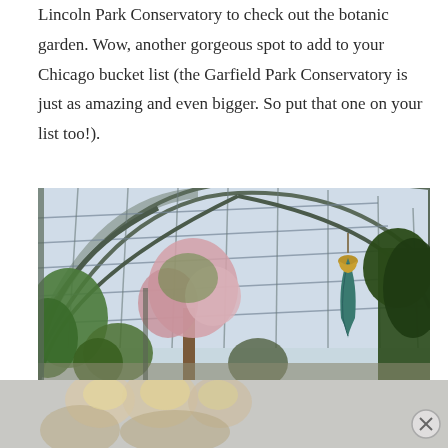Lincoln Park Conservatory to check out the botanic garden. Wow, another gorgeous spot to add to your Chicago bucket list (the Garfield Park Conservatory is just as amazing and even bigger. So put that one on your list too!).
[Figure (photo): Interior of a large glass conservatory greenhouse with arched metal and glass roof structure, lush green and flowering plants including a pink-blossomed tree, and a decorative teal/green hanging sculpture visible on the right side.]
[Figure (photo): Partially visible advertisement bar at the bottom of the page showing blurred figures of women with blonde hair, overlaid with a close/dismiss button (X) in the bottom right corner.]